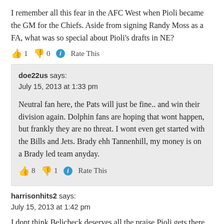I remember all this fear in the AFC West when Pioli became the GM for the Chiefs. Aside from signing Randy Moss as a FA, what was so special about Pioli’s drafts in NE?
👍 1 👎 0 ⓘ Rate This
doe22us says:
July 15, 2013 at 1:33 pm
Neutral fan here, the Pats will just be fine.. and win their division again. Dolphin fans are hoping that wont happen, but frankly they are no threat. I wont even get started with the Bills and Jets. Brady ehh Tannenhill, my money is on a Brady led team anyday.
👍 8 👎 1 ⓘ Rate This
harrisonhits2 says:
July 15, 2013 at 1:42 pm
I dont think Belicheck deserves all the praise Pioli gets there. It’d be...